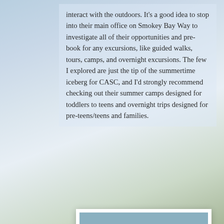interact with the outdoors. It's a good idea to stop into their main office on Smokey Bay Way to investigate all of their opportunities and pre-book for any excursions, like guided walks, tours, camps, and overnight excursions. The few I explored are just the tip of the summertime iceberg for CASC, and I'd strongly recommend checking out their summer camps designed for toddlers to teens and overnight trips designed for pre-teens/teens and families.
[Figure (photo): Outdoor scene showing a wooden sign on two posts with blue background and orange/gold lettering, surrounded by green vegetation and trees, with a wooden bench to the right and rocks at the base of the sign posts.]